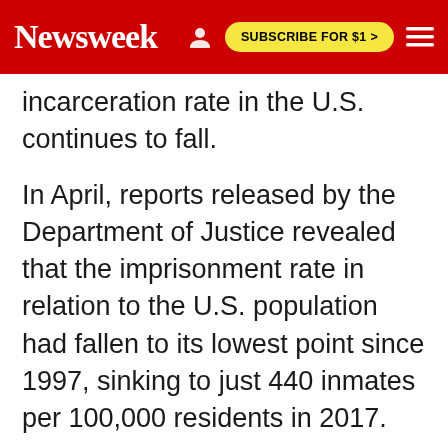Newsweek | SUBSCRIBE FOR $1 >
incarceration rate in the U.S. continues to fall.
In April, reports released by the Department of Justice revealed that the imprisonment rate in relation to the U.S. population had fallen to its lowest point since 1997, sinking to just 440 inmates per 100,000 residents in 2017.